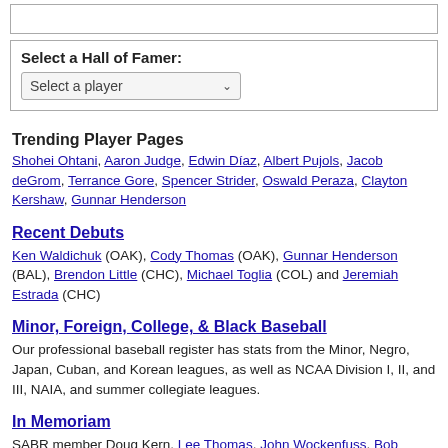[Figure (screenshot): Empty white box at top of page]
Select a Hall of Famer: [Select a player dropdown]
Trending Player Pages
Shohei Ohtani, Aaron Judge, Edwin Díaz, Albert Pujols, Jacob deGrom, Terrance Gore, Spencer Strider, Oswald Peraza, Clayton Kershaw, Gunnar Henderson
Recent Debuts
Ken Waldichuk (OAK), Cody Thomas (OAK), Gunnar Henderson (BAL), Brendon Little (CHC), Michael Toglia (COL) and Jeremiah Estrada (CHC)
Minor, Foreign, College, & Black Baseball
Our professional baseball register has stats from the Minor, Negro, Japan, Cuban, and Korean leagues, as well as NCAA Division I, II, and III, NAIA, and summer collegiate leagues.
In Memoriam
SABR member Doug Kern, Lee Thomas, John Wockenfuss, Bob Locker, George Kernek, Julio Valdez and Dwight Smith